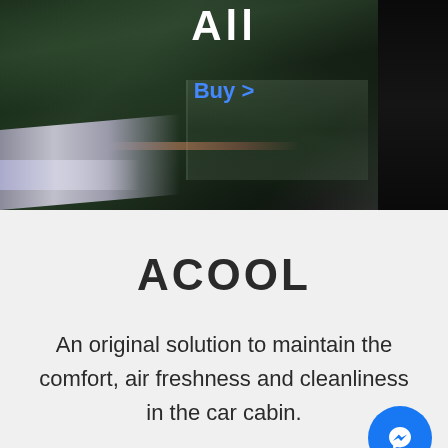[Figure (photo): Dark car window photo showing glass reflections with green trees and building reflections visible, car body edge visible at bottom left, dark door pillar at right edge. Text overlaid: 'All' in white at top, 'Buy >' in blue link style below.]
Buy >
ACOOL
An original solution to maintain the comfort, air freshness and cleanliness in the car cabin.